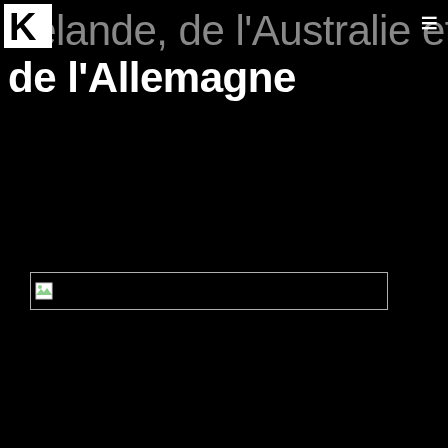K (logo)
Zélande, de l'Australie et de l'Allemagne
[Figure (other): Broken image placeholder — a rectangular image that failed to load, showing a broken image icon in the top-left corner of a white rectangle with a gray border on a black background]